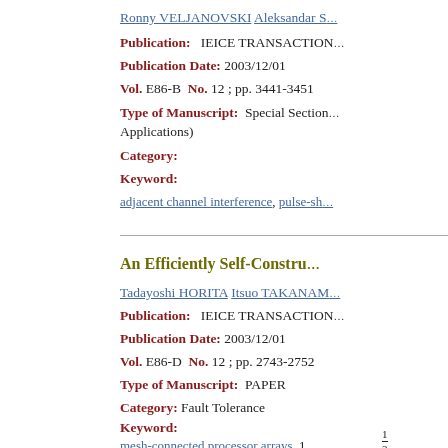Ronny VELJANOVSKI Aleksandar S…
Publication: IEICE TRANSACTION…
Publication Date: 2003/12/01
Vol. E86-B  No. 12 ; pp. 3441-3451
Type of Manuscript: Special Section… Applications)
Category:
Keyword:
adjacent channel interference, pulse-sh…
An Efficiently Self-Constru…
Tadayoshi HORITA  Itsuo TAKANAM…
Publication: IEICE TRANSACTION…
Publication Date: 2003/12/01
Vol. E86-D  No. 12 ; pp. 2743-2752
Type of Manuscript: PAPER
Category: Fault Tolerance
Keyword:
mesh-connected processor arrays, 1… architecture,